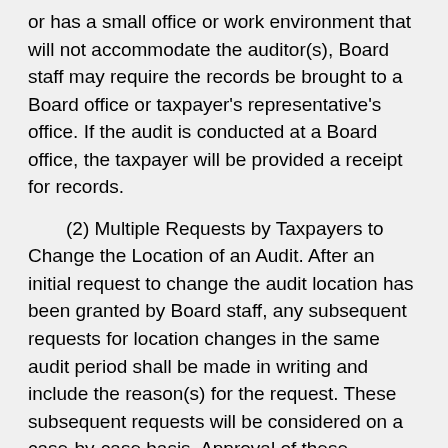or has a small office or work environment that will not accommodate the auditor(s), Board staff may require the records be brought to a Board office or taxpayer's representative's office. If the audit is conducted at a Board office, the taxpayer will be provided a receipt for records.
(2) Multiple Requests by Taxpayers to Change the Location of an Audit. After an initial request to change the audit location has been granted by Board staff, any subsequent requests for location changes in the same audit period shall be made in writing and include the reason(s) for the request. These subsequent requests will be considered on a case-by-case basis. Approval of these requests is at the discretion of Board staff.
(3) Site Visitations. Regardless of where the audit